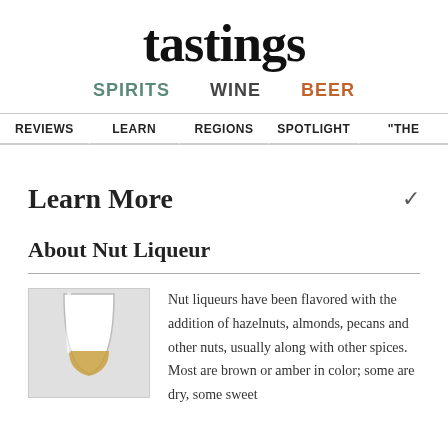tastings
SPIRITS  WINE  BEER
REVIEWS  LEARN  REGIONS  SPOTLIGHT  "THE
Learn More
About Nut Liqueur
[Figure (photo): A stemless wine glass with a golden/amber liquid at the bottom, set against a light gray background.]
Nut liqueurs have been flavored with the addition of hazelnuts, almonds, pecans and other nuts, usually along with other spices. Most are brown or amber in color; some are dry, some sweet